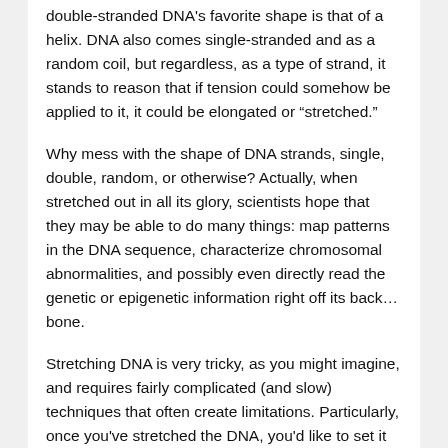double-stranded DNA's favorite shape is that of a helix. DNA also comes single-stranded and as a random coil, but regardless, as a type of strand, it stands to reason that if tension could somehow be applied to it, it could be elongated or “stretched.”
Why mess with the shape of DNA strands, single, double, random, or otherwise? Actually, when stretched out in all its glory, scientists hope that they may be able to do many things: map patterns in the DNA sequence, characterize chromosomal abnormalities, and possibly even directly read the genetic or epigenetic information right off its back…bone.
Stretching DNA is very tricky, as you might imagine, and requires fairly complicated (and slow) techniques that often create limitations. Particularly, once you've stretched the DNA, you'd like to set it down on a surface somewhere to have a look at it. To do this, scientists often need to use a liquid or solid “carrier,” like a pH-controlled solution, to get the DNA in contact with the depositing surface. However, problems can arise if the surface is